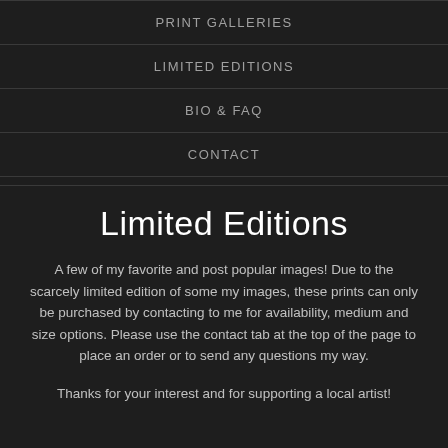PRINT GALLERIES
LIMITED EDITIONS
BIO & FAQ
CONTACT
Limited Editions
A few of my favorite and post popular images! Due to the scarcely limited edition of some my images, these prints can only be purchased by contacting to me for availability, medium and size options. Please use the contact tab at the top of the page to place an order or to send any questions my way.
Thanks for your interest and for supporting a local artist!